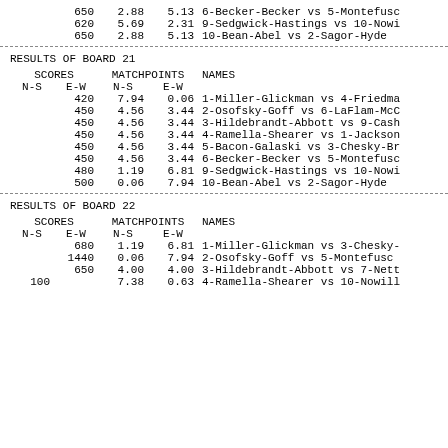| N-S | E-W | N-S | E-W | NAMES |
| --- | --- | --- | --- | --- |
|  | 650 | 2.88 | 5.13 | 6-Becker-Becker vs 5-Montefusc |
|  | 620 | 5.69 | 2.31 | 9-Sedgwick-Hastings vs 10-Nowi |
|  | 650 | 2.88 | 5.13 | 10-Bean-Abel vs 2-Sagor-Hyde |
RESULTS OF BOARD 21
| N-S | E-W | N-S | E-W | NAMES |
| --- | --- | --- | --- | --- |
|  | 420 | 7.94 | 0.06 | 1-Miller-Glickman vs 4-Friedma |
|  | 450 | 4.56 | 3.44 | 2-Osofsky-Goff vs 6-LaFlam-McC |
|  | 450 | 4.56 | 3.44 | 3-Hildebrandt-Abbott vs 9-Cash |
|  | 450 | 4.56 | 3.44 | 4-Ramella-Shearer vs 1-Jackson |
|  | 450 | 4.56 | 3.44 | 5-Bacon-Galaski vs 3-Chesky-Br |
|  | 450 | 4.56 | 3.44 | 6-Becker-Becker vs 5-Montefusc |
|  | 480 | 1.19 | 6.81 | 9-Sedgwick-Hastings vs 10-Nowi |
|  | 500 | 0.06 | 7.94 | 10-Bean-Abel vs 2-Sagor-Hyde |
RESULTS OF BOARD 22
| N-S | E-W | N-S | E-W | NAMES |
| --- | --- | --- | --- | --- |
|  | 680 | 1.19 | 6.81 | 1-Miller-Glickman vs 3-Chesky- |
|  | 1440 | 0.06 | 7.94 | 2-Osofsky-Goff vs 5-Montefusc |
|  | 650 | 4.00 | 4.00 | 3-Hildebrandt-Abbott vs 7-Nett |
| 100 |  | 7.38 | 0.63 | 4-Ramella-Shearer vs 10-Nowill |